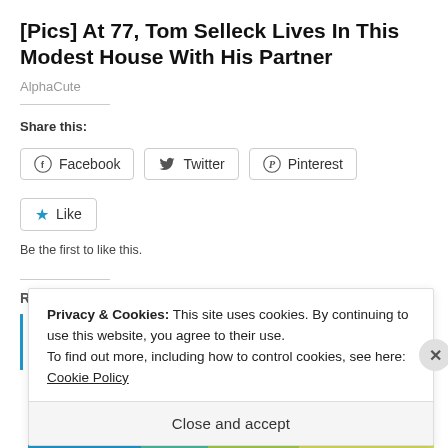[Pics] At 77, Tom Selleck Lives In This Modest House With His Partner
AlphaCute
Share this:
[Figure (other): Share buttons: Facebook, Twitter, Pinterest social media share buttons]
[Figure (other): Like button with star icon]
Be the first to like this.
Related
Privacy & Cookies: This site uses cookies. By continuing to use this website, you agree to their use.
To find out more, including how to control cookies, see here: Cookie Policy
Close and accept